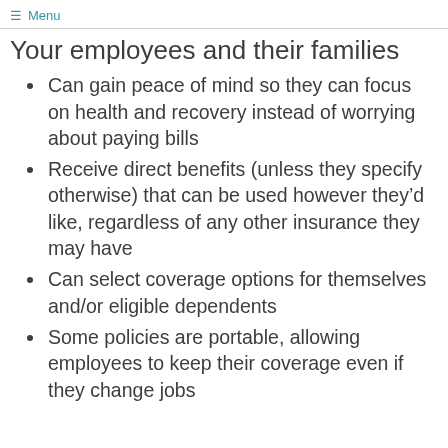≡ Menu
Your employees and their families
Can gain peace of mind so they can focus on health and recovery instead of worrying about paying bills
Receive direct benefits (unless they specify otherwise) that can be used however they'd like, regardless of any other insurance they may have
Can select coverage options for themselves and/or eligible dependents
Some policies are portable, allowing employees to keep their coverage even if they change jobs